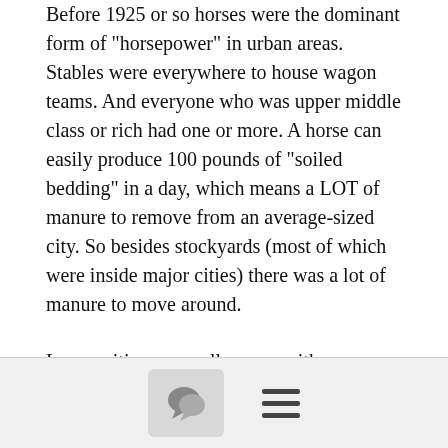Before 1925 or so horses were the dominant form of "horsepower" in urban areas. Stables were everywhere to house wagon teams. And everyone who was upper middle class or rich had one or more. A horse can easily produce 100 pounds of "soiled bedding" in a day, which means a LOT of manure to remove from an average-sized city. So besides stockyards (most of which were inside major cities) there was a lot of manure to move around.
Larger cities, or smaller ones with a disproportionately large number of private buggy horses, usually had manure loading ramps to help the process. While manpower was dead cheap before the 1950s, time was still a finite commodity. If you had a lot of poop to move out of town, you had to have a ram to speed up the process.
I've attached a few photos.
[Figure (other): Bottom navigation bar with a comment/speech bubble icon button and a hamburger menu icon]